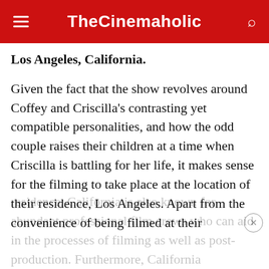TheCinemaholic
Los Angeles, California.
Given the fact that the show revolves around Coffey and Criscilla's contrasting yet compatible personalities, and how the odd couple raises their children at a time when Criscilla is battling for her life, it makes sense for the filming to take place at the location of their residence, Los Angeles. Apart from the convenience of being filmed at their residence, California is also known for abundant professional film crews who can aid in the processes of filming as well as post-production. Furthermore, California